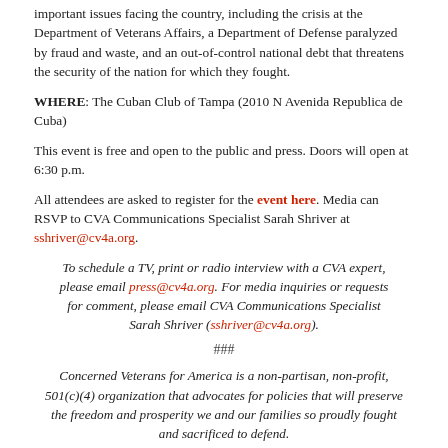important issues facing the country, including the crisis at the Department of Veterans Affairs, a Department of Defense paralyzed by fraud and waste, and an out-of-control national debt that threatens the security of the nation for which they fought.
WHERE: The Cuban Club of Tampa (2010 N Avenida Republica de Cuba)
This event is free and open to the public and press. Doors will open at 6:30 p.m.
All attendees are asked to register for the event here. Media can RSVP to CVA Communications Specialist Sarah Shriver at sshriver@cv4a.org.
To schedule a TV, print or radio interview with a CVA expert, please email press@cv4a.org. For media inquiries or requests for comment, please email CVA Communications Specialist Sarah Shriver (sshriver@cv4a.org).
###
Concerned Veterans for America is a non-partisan, non-profit, 501(c)(4) organization that advocates for policies that will preserve the freedom and prosperity we and our families so proudly fought and sacrificed to defend.
[Figure (illustration): Social media icons: Twitter bird logo and Facebook 'f' logo, both in light gray outline style]